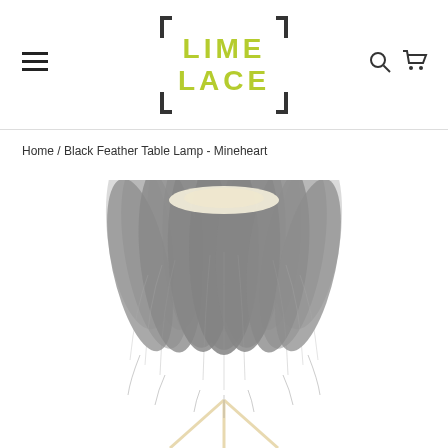LIME LACE logo with hamburger menu, search and cart icons
Home / Black Feather Table Lamp - Mineheart
[Figure (photo): A table lamp shade made of grey/black feathers arranged in a layered, full skirt shape. The lamp has thin gold/cream metal legs visible at the bottom. The feathers are soft and fluffy, creating a dense, textured shade. Photo on white background.]